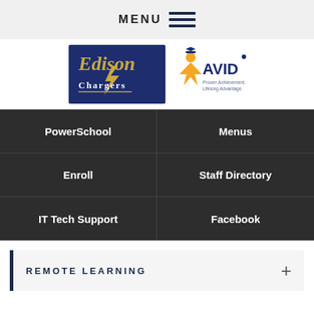MENU
[Figure (logo): Edison Chargers school logo (navy blue background with gold Edison Chargers text and lightning bolt) combined with AVID logo (orange figure with graduation cap, blue AVID text, 'Proven Achievement. Lifelong Advantage.')]
| PowerSchool | Menus |
| Enroll | Staff Directory |
| IT Tech Support | Facebook |
REMOTE LEARNING